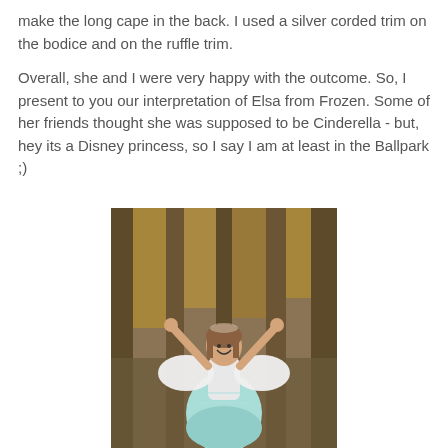make the long cape in the back. I used a silver corded trim on the bodice and on the ruffle trim.

Overall, she and I were very happy with the outcome. So, I present to you our interpretation of Elsa from Frozen. Some of her friends thought she was supposed to be Cinderella - but, hey its a Disney princess, so I say I am at least in the Ballpark ;)
[Figure (photo): A young girl in a light blue and white Elsa-inspired costume with large white cape sleeves, arms raised above her head, smiling, standing in a wooded outdoor setting with trees and bokeh background.]